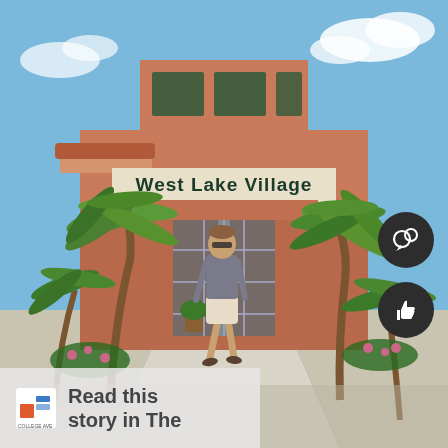[Figure (photo): Exterior photo of 'West Lake Village' building entrance with a young man walking out through glass doors. Palm trees on both sides, Florida-style architecture with terracotta roof and orange/pink stucco walls, blue sky, landscaped walkway.]
Read this story in The